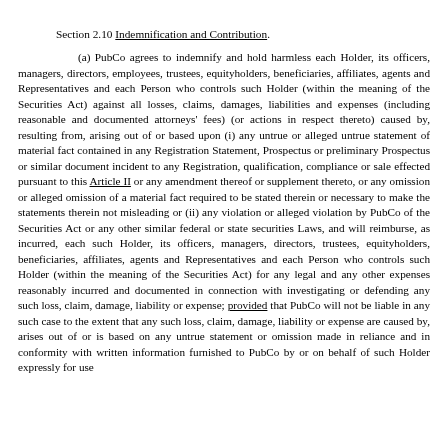Section 2.10 Indemnification and Contribution.
(a) PubCo agrees to indemnify and hold harmless each Holder, its officers, managers, directors, employees, trustees, equityholders, beneficiaries, affiliates, agents and Representatives and each Person who controls such Holder (within the meaning of the Securities Act) against all losses, claims, damages, liabilities and expenses (including reasonable and documented attorneys' fees) (or actions in respect thereto) caused by, resulting from, arising out of or based upon (i) any untrue or alleged untrue statement of material fact contained in any Registration Statement, Prospectus or preliminary Prospectus or similar document incident to any Registration, qualification, compliance or sale effected pursuant to this Article II or any amendment thereof or supplement thereto, or any omission or alleged omission of a material fact required to be stated therein or necessary to make the statements therein not misleading or (ii) any violation or alleged violation by PubCo of the Securities Act or any other similar federal or state securities Laws, and will reimburse, as incurred, each such Holder, its officers, managers, directors, trustees, equityholders, beneficiaries, affiliates, agents and Representatives and each Person who controls such Holder (within the meaning of the Securities Act) for any legal and any other expenses reasonably incurred and documented in connection with investigating or defending any such loss, claim, damage, liability or expense; provided that PubCo will not be liable in any such case to the extent that any such loss, claim, damage, liability or expense are caused by, arises out of or is based on any untrue statement or omission made in reliance and in conformity with written information furnished to PubCo by or on behalf of such Holder expressly for use